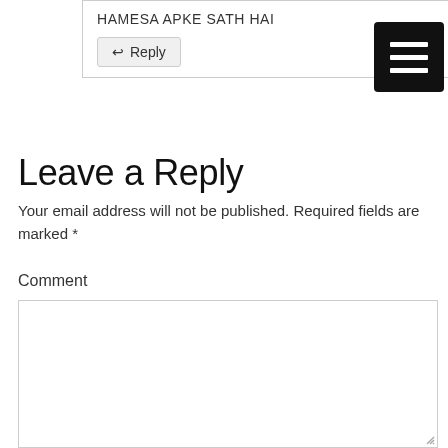HAMESA APKE SATH HAI
[Figure (other): Black hamburger/menu icon button with three white horizontal lines]
← Reply
Leave a Reply
Your email address will not be published. Required fields are marked *
Comment
[Figure (other): Empty comment text area input box with resize handle]